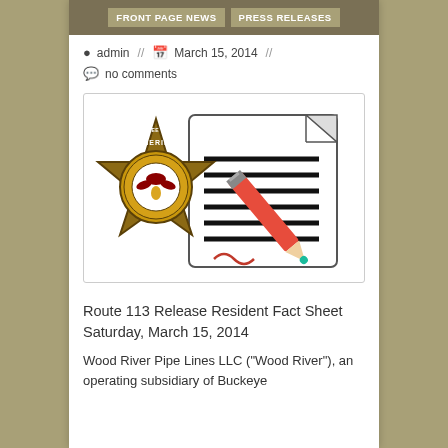FRONT PAGE NEWS  //  PRESS RELEASES
admin  //  March 15, 2014  //
no comments
[Figure (illustration): Kankakee County Sheriff's Police badge (Bukowski) overlaid on a document with lines and a red pencil signing a signature]
Route 113 Release Resident Fact Sheet Saturday, March 15, 2014
Wood River Pipe Lines LLC ("Wood River"), an operating subsidiary of Buckeye